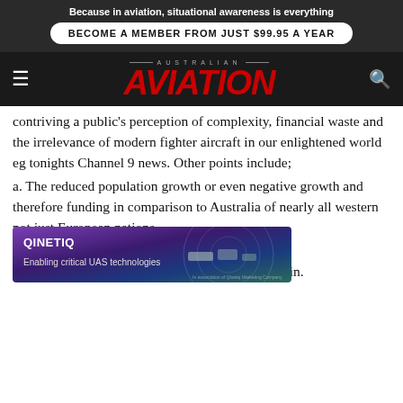Because in aviation, situational awareness is everything
BECOME A MEMBER FROM JUST $99.95 A YEAR
[Figure (logo): Australian Aviation magazine logo with red italic AVIATION text on dark background]
contriving a public's perception of complexity, financial waste and the irrelevance of modern fighter aircraft in our enlightened world eg tonights Channel 9 news. Other points include;
a. The reduced population growth or even negative growth and therefore funding in comparison to Australia of nearly all western not just European nations.
b. The [partially obscured] tern European air forces with the fall of the Iron Curtain.
[Figure (screenshot): QinetiQ advertisement banner: Enabling critical UAS technologies, with purple/blue gradient background and drone/vehicle imagery]